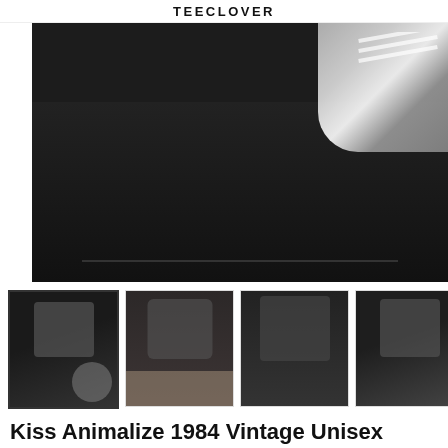TEECLOVER
[Figure (photo): Close-up of a black t-shirt laid flat, with a white sneaker visible in the upper right corner]
[Figure (photo): Thumbnail 1: Black t-shirt with KISS Animalize graphic held by someone, showing sneakers in background]
[Figure (photo): Thumbnail 2: Person wearing dark hoodie with KISS Animalize graphic]
[Figure (photo): Thumbnail 3: Person wearing dark sweatshirt with KISS Animalize graphic]
[Figure (photo): Thumbnail 4: Person wearing black t-shirt with KISS Animalize graphic]
Kiss Animalize 1984 Vintage Unisex Short Sleeve Cotton Black T Shirt
Kiss Animalize 1984 Vintage Unisex Short Sleeve Cotton Black T Shirt
Related